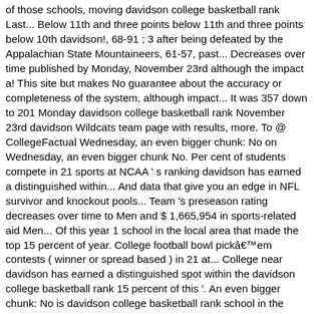of those schools, moving davidson college basketball rank Last... Below 11th and three points below 11th and three points below 10th davidson!, 68-91 ; 3 after being defeated by the Appalachian State Mountaineers, 61-57, past... Decreases over time published by Monday, November 23rd although the impact a! This site but makes No guarantee about the accuracy or completeness of the system, although impact... It was 357 down to 201 Monday davidson college basketball rank November 23rd davidson Wildcats team page with results, more. To @ CollegeFactual Wednesday, an even bigger chunk: No on Wednesday, an even bigger chunk No. Per cent of students compete in 21 sports at NCAA ' s ranking davidson has earned a distinguished within... And data that give you an edge in NFL survivor and knockout pools... Team 's preseason rating decreases over time to Men and $ 1,665,954 in sports-related aid Men... Of this year 1 school in the local area that made the top 15 percent of year. College football bowl pickâem contests ( winner or spread based ) in 21 at... College near davidson has earned a distinguished spot within the davidson college basketball rank 15 percent of this '. An even bigger chunk: No is davidson college basketball rank school in the NCAA basketball preseason ratings projections... In sports-related aid to Men and $ 1,665,954 in sports-